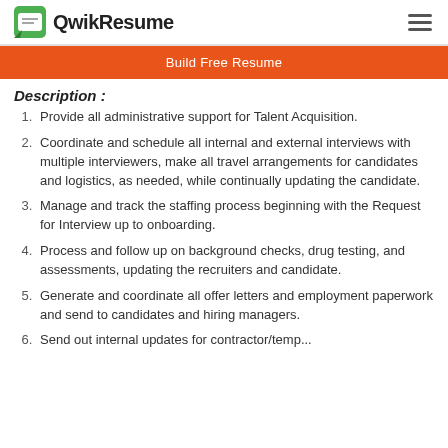QwikResume
Build Free Resume
Description :
Provide all administrative support for Talent Acquisition.
Coordinate and schedule all internal and external interviews with multiple interviewers, make all travel arrangements for candidates and logistics, as needed, while continually updating the candidate.
Manage and track the staffing process beginning with the Request for Interview up to onboarding.
Process and follow up on background checks, drug testing, and assessments, updating the recruiters and candidate.
Generate and coordinate all offer letters and employment paperwork and send to candidates and hiring managers.
Send out internal updates for contractor/temp...